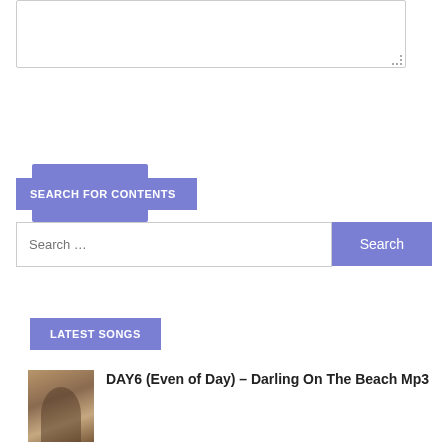[Figure (other): Empty text area input box with resize handle in bottom right corner]
Post Comment
SEARCH FOR CONTENTS
Search …
LATEST SONGS
[Figure (photo): Thumbnail photo of a person in beige/brown tones]
DAY6 (Even of Day) – Darling On The Beach Mp3